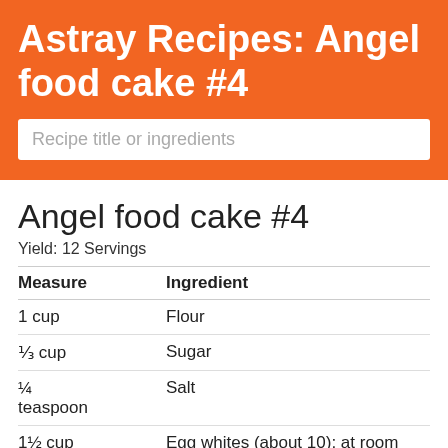Astray Recipes: Angel food cake #4
Recipe title or ingredients
Angel food cake #4
Yield: 12 Servings
| Measure | Ingredient |
| --- | --- |
| 1 cup | Flour |
| ⅓ cup | Sugar |
| ¼ teaspoon | Salt |
| 1½ cup | Egg whites (about 10); at room temp |
| 1 teaspoon | Cream of tartar |